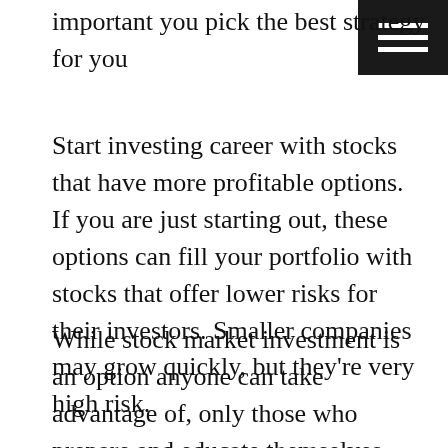important you pick the best strategy for you
Start investing career with stocks that have more profitable options. If you are just starting out, these options can fill your portfolio with stocks that offer lower risks for their investors. Smaller companies may grow quickly, but they’re very high risk.
While stock market investment is an option anyone can take advantage of, only those who prepare and educate themselves properly will see the best results. Polish up your knowledge on the stock market, how it works and which companies are making the most of opportunities before you lay any money down. Remember the strategies in this guide, so that you can invest today!